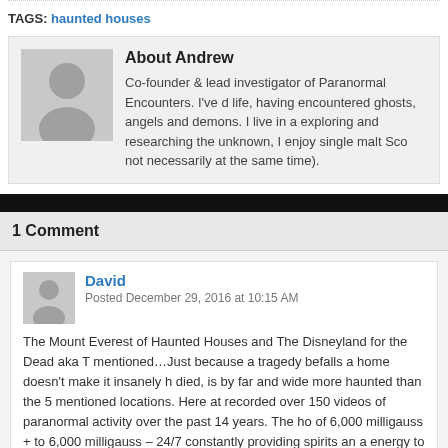TAGS: haunted houses
About Andrew
Co-founder & lead investigator of Paranormal Encounters. I've d... life, having encountered ghosts, angels and demons. I live in a... exploring and researching the unknown, I enjoy single malt Sco... not necessarily at the same time).
1 Comment
David
Posted December 29, 2016 at 10:15 AM
The Mount Everest of Haunted Houses and The Disneyland for the Dead aka T... mentioned...Just because a tragedy befalls a home doesn't make it insanely h... died, is by far and wide more haunted than the 5 mentioned locations. Here at... recorded over 150 videos of paranormal activity over the past 14 years. The ho... of 6,000 milligauss + to 6,000 milligauss – 24/7 constantly providing spirits an a... energy to manifest any time of day or night, any time of year...non stop. I have...